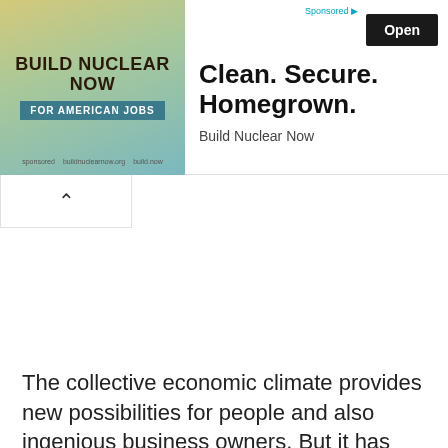[Figure (illustration): Advertisement banner showing 'Build Nuclear Now for American Jobs' with a decorative background featuring vintage nuclear and industrial imagery in yellow-green tones.]
Clean. Secure. Homegrown.
Build Nuclear Now
Open
The collective economic climate provides new possibilities for people and also ingenious business owners. But it has actually also produced tensions